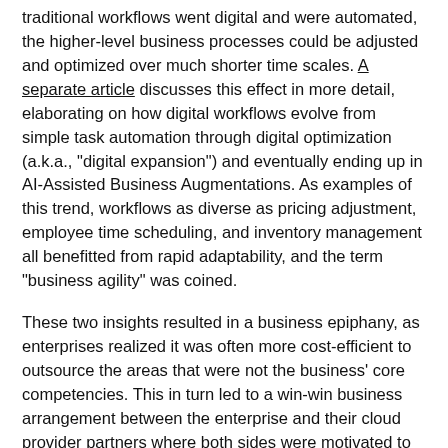traditional workflows went digital and were automated, the higher-level business processes could be adjusted and optimized over much shorter time scales. A separate article discusses this effect in more detail, elaborating on how digital workflows evolve from simple task automation through digital optimization (a.k.a., "digital expansion") and eventually ending up in AI-Assisted Business Augmentations. As examples of this trend, workflows as diverse as pricing adjustment, employee time scheduling, and inventory management all benefitted from rapid adaptability, and the term "business agility" was coined.
These two insights resulted in a business epiphany, as enterprises realized it was often more cost-efficient to outsource the areas that were not the business' core competencies. This in turn led to a win-win business arrangement between the enterprise and their cloud provider partners where both sides were motivated to further up-level the services offered by the public cloud, thereby offloading additional technology overhead from the enterprise. This concept was then extended by the public cloud to make